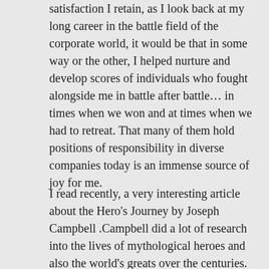satisfaction I retain, as I look back at my long career in the battle field of the corporate world, it would be that in some way or the other, I helped nurture and develop scores of individuals who fought alongside me in battle after battle… in times when we won and at times when we had to retreat. That many of them hold positions of responsibility in diverse companies today is an immense source of joy for me.
I read recently, a very interesting article about the Hero's Journey by Joseph Campbell .Campbell did a lot of research into the lives of mythological heroes and also the world's greats over the centuries. The Hero's journey